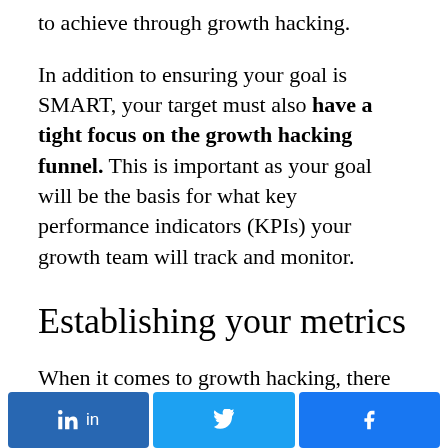to achieve through growth hacking.
In addition to ensuring your goal is SMART, your target must also have a tight focus on the growth hacking funnel. This is important as your goal will be the basis for what key performance indicators (KPIs) your growth team will track and monitor.
Establishing your metrics
When it comes to growth hacking, there